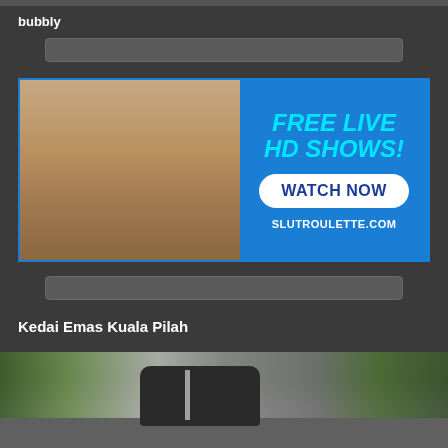bubbly
[Figure (illustration): Input/search bar element (top)]
[Figure (infographic): Advertisement banner with photo on left and 'FREE LIVE HD SHOWS! WATCH NOW SLUTROULETTE.COM' text on blue background on right]
[Figure (illustration): Input/search bar element (bottom)]
Kedai Emas Kuala Pilah
[Figure (photo): Outdoor street/road photo with trees, a car, and a utility pole]